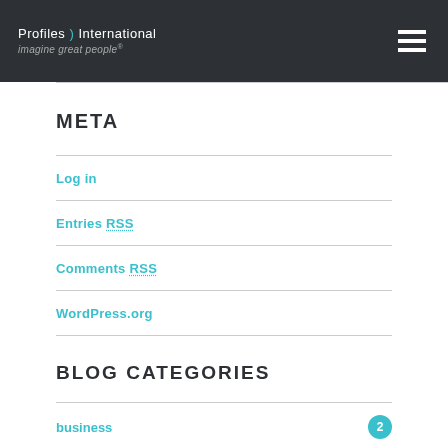Profiles International — imagine great people
META
Log in
Entries RSS
Comments RSS
WordPress.org
BLOG CATEGORIES
business 2